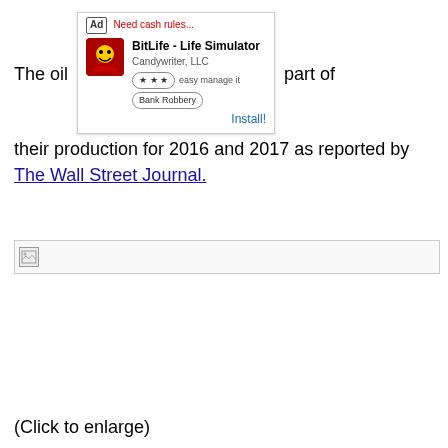The oil [Ad overlay: BitLife - Life Simulator, Candywriter, LLC, Install!] part of their production for 2016 and 2017 as reported by The Wall Street Journal.
[Figure (other): Broken image placeholder with grey border]
(Click to enlarge)